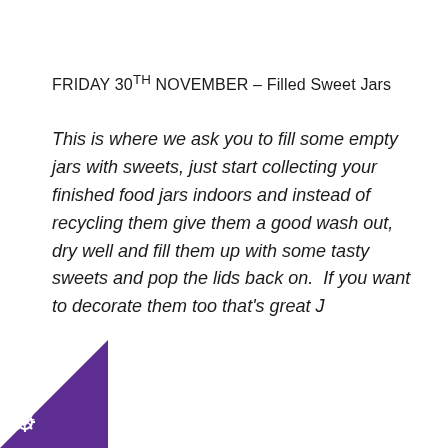FRIDAY 30TH NOVEMBER – Filled Sweet Jars
This is where we ask you to fill some empty jars with sweets, just start collecting your finished food jars indoors and instead of recycling them give them a good wash out, dry well and fill them up with some tasty sweets and pop the lids back on. If you want to decorate them too that's great J